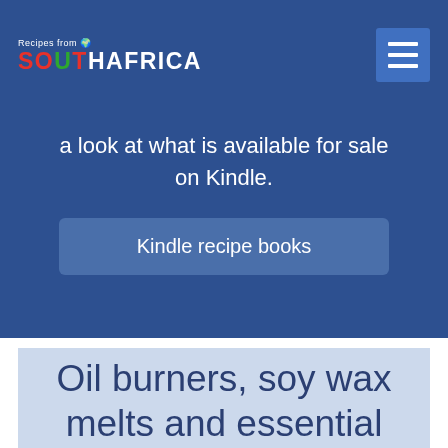Recipes from SOUTH AFRICA
a look at what is available for sale on Kindle.
Kindle recipe books
Oil burners, soy wax melts and essential oils